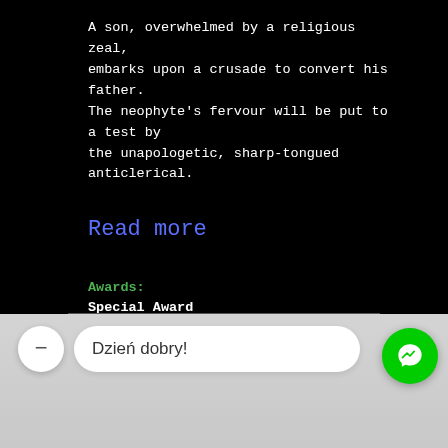A son, overwhelmed by a religious zeal, embarks upon a crusade to convert his father. The neophyte's fervour will be put to a test by the unapologetic, sharp-tongued anticlerical.
Read more
Awards:
Special Award
[Figure (screenshot): Bottom chat UI overlay with a minus button, a text input field showing 'Dzień dobry!', and a green Messenger icon button on a grey panel background.]